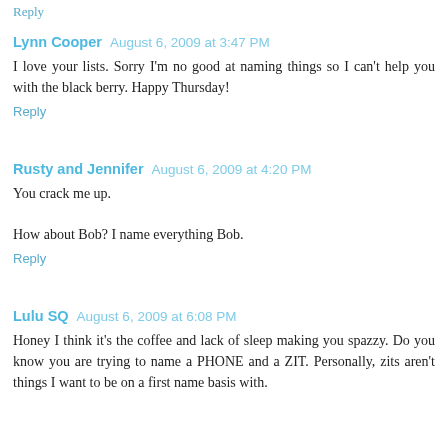Reply
Lynn Cooper  August 6, 2009 at 3:47 PM
I love your lists. Sorry I'm no good at naming things so I can't help you with the black berry. Happy Thursday!
Reply
Rusty and Jennifer  August 6, 2009 at 4:20 PM
You crack me up.
How about Bob? I name everything Bob.
Reply
Lulu SQ  August 6, 2009 at 6:08 PM
Honey I think it's the coffee and lack of sleep making you spazzy. Do you know you are trying to name a PHONE and a ZIT. Personally, zits aren't things I want to be on a first name basis with.